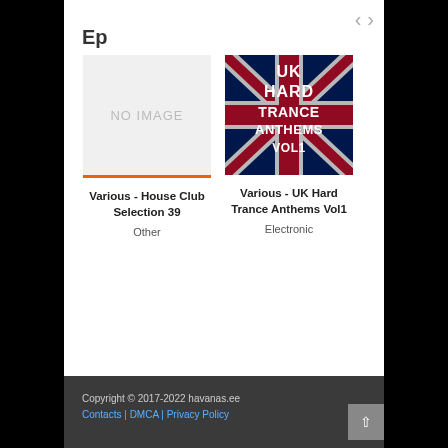Ep
[Figure (illustration): Album cover placeholder — grey box with NO IMAGE text, with orange underline bar. Album: Various - House Club Selection 39, Genre: Other]
[Figure (photo): Album cover for UK Hard Trance Anthems Vol1 — Union Jack flag background with bold block text reading UK HARD TRANCE ANTHEMS VOL1]
Various - House Club Selection 39
Other
Various - UK Hard Trance Anthems Vol1
Electronic
Copyright © 2017-2022 havanas.ee  Contacts | DMCA | Privacy Policy